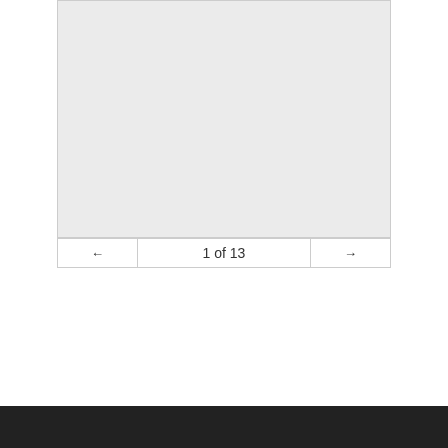[Figure (other): A light gray rectangular image placeholder area with a thin border]
← 1 of 13 →
Dark footer bar